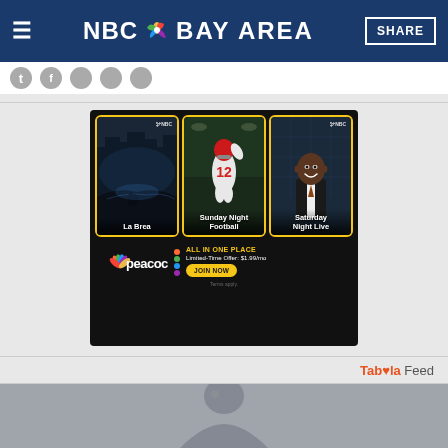NBC Bay Area — SHARE
[Figure (screenshot): NBC Peacock advertisement showing three show cards (La Brea, Sunday Night Football, Saturday Night Live) with text 'ALL IN ONE PLACE, Limited-Time Offer: $1.99/mo, JOIN NOW' and Peacock logo]
Taboola Feed
[Figure (photo): Partial thumbnail image at bottom of page showing a person, part of Taboola feed content]